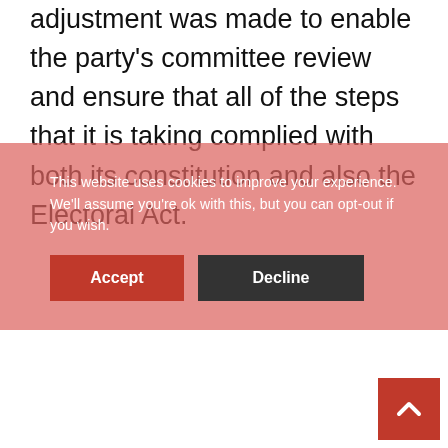adjustment was made to enable the party's committee review and ensure that all of the steps that it is taking complied with both its constitution and also the Electoral Act.
This website uses cookies to improve your experience. We'll assume you're ok with this, but you can opt-out if you wish.
[Figure (screenshot): Cookie consent overlay with Accept and Decline buttons over a semi-transparent red/pink background]